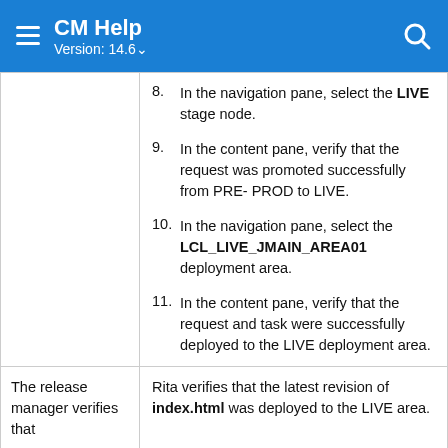CM Help Version: 14.6
8. In the navigation pane, select the LIVE stage node.
9. In the content pane, verify that the request was promoted successfully from PRE- PROD to LIVE.
10. In the navigation pane, select the LCL_LIVE_JMAIN_AREA01 deployment area.
11. In the content pane, verify that the request and task were successfully deployed to the LIVE deployment area.
The release manager verifies that
Rita verifies that the latest revision of index.html was deployed to the LIVE area.